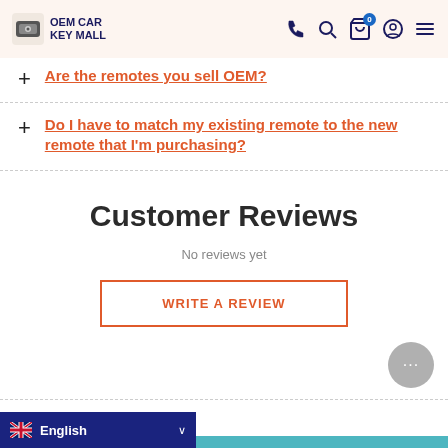OEM CAR KEY MALL
Are the remotes you sell OEM?
Do I have to match my existing remote to the new remote that I'm purchasing?
Customer Reviews
No reviews yet
WRITE A REVIEW
English